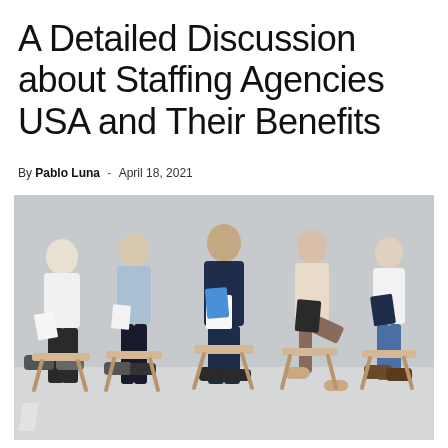A Detailed Discussion about Staffing Agencies USA and Their Benefits
By Pablo Luna - April 18, 2021
[Figure (photo): Five people sitting in chairs in a row against a light grey wall, each holding documents, tablets, or folders, appearing to be waiting for a job interview. The setting is a modern office waiting area with wooden chairs.]